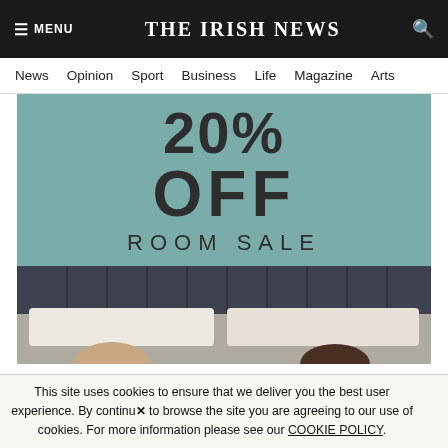THE IRISH NEWS
News  Opinion  Sport  Business  Life  Magazine  Arts
[Figure (photo): Advertisement showing '20% OFF ROOM SALE' in large text on teal background, with a hotel room photo below showing two people lying in a bed with pillows and a dark headboard]
This site uses cookies to ensure that we deliver you the best user experience. By continuing to browse the site you are agreeing to our use of cookies. For more information please see our COOKIE POLICY.